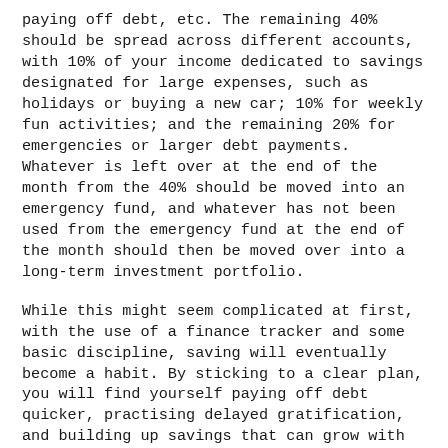paying off debt, etc. The remaining 40% should be spread across different accounts, with 10% of your income dedicated to savings designated for large expenses, such as holidays or buying a new car; 10% for weekly fun activities; and the remaining 20% for emergencies or larger debt payments. Whatever is left over at the end of the month from the 40% should be moved into an emergency fund, and whatever has not been used from the emergency fund at the end of the month should then be moved over into a long-term investment portfolio.
While this might seem complicated at first, with the use of a finance tracker and some basic discipline, saving will eventually become a habit. By sticking to a clear plan, you will find yourself paying off debt quicker, practising delayed gratification, and building up savings that can grow with time, regardless of your monthly earnings.